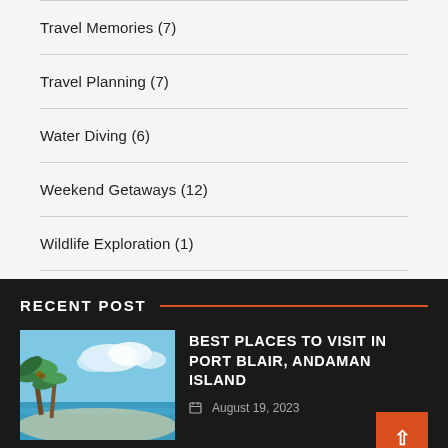Travel Memories (7)
Travel Planning (7)
Water Diving (6)
Weekend Getaways (12)
Wildlife Exploration (1)
RECENT POST
[Figure (photo): Tropical beach scene with palm trees, blue sky and clouds]
BEST PLACES TO VISIT IN PORT BLAIR, ANDAMAN ISLAND
August 19, 2023